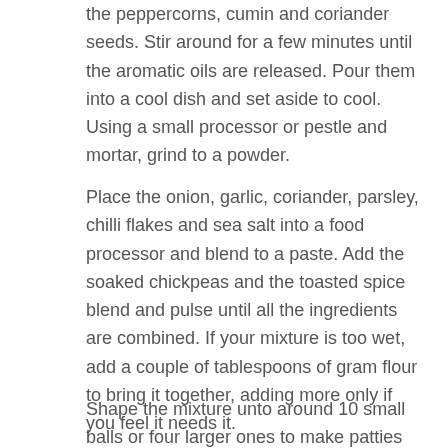the peppercorns, cumin and coriander seeds. Stir around for a few minutes until the aromatic oils are released. Pour them into a cool dish and set aside to cool. Using a small processor or pestle and mortar, grind to a powder.
Place the onion, garlic, coriander, parsley, chilli flakes and sea salt into a food processor and blend to a paste. Add the soaked chickpeas and the toasted spice blend and pulse until all the ingredients are combined. If your mixture is too wet, add a couple of tablespoons of gram flour to bring it together, adding more only if you feel it needs it.
Shape the mixture unto around 10 small balls or four larger ones to make patties for burgers.